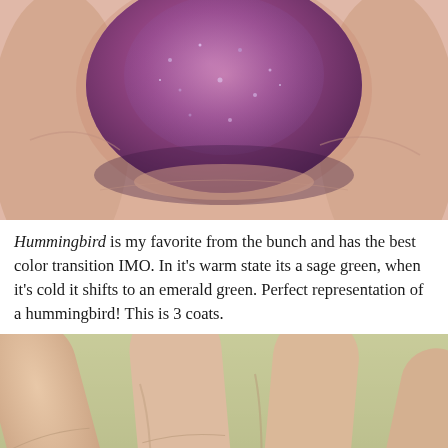[Figure (photo): Close-up macro photograph of a single fingernail painted with a shimmery purple/mauve nail polish, showing the nail from above with skin on either side]
Hummingbird is my favorite from the bunch and has the best color transition IMO. In it's warm state its a sage green, when it's cold it shifts to an emerald green. Perfect representation of a hummingbird! This is 3 coats.
[Figure (photo): Close-up photograph of a hand showing fingers with shimmery metallic sage/emerald green nail polish applied, along with a navigation arrow button overlay and watermark]